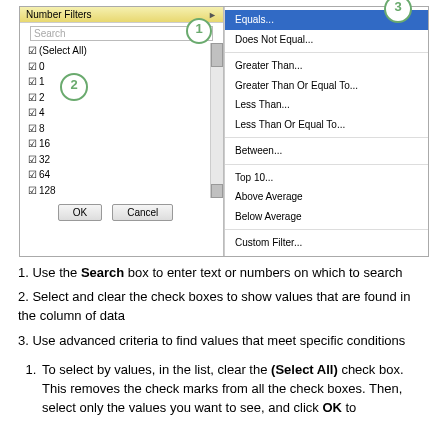[Figure (screenshot): Excel Number Filters dialog screenshot showing search box (labeled 1), checkbox list with values 0,1,2,4,8,16,32,64,128 (labeled 2), and Number Filters submenu with options: Equals, Does Not Equal, Greater Than, Greater Than Or Equal To, Less Than, Less Than Or Equal To, Between, Top 10, Above Average, Below Average, Custom Filter (labeled 3). OK and Cancel buttons at the bottom.]
1. Use the Search box to enter text or numbers on which to search
2. Select and clear the check boxes to show values that are found in the column of data
3. Use advanced criteria to find values that meet specific conditions
1. To select by values, in the list, clear the (Select All) check box. This removes the check marks from all the check boxes. Then, select only the values you want to see, and click OK to see the results.